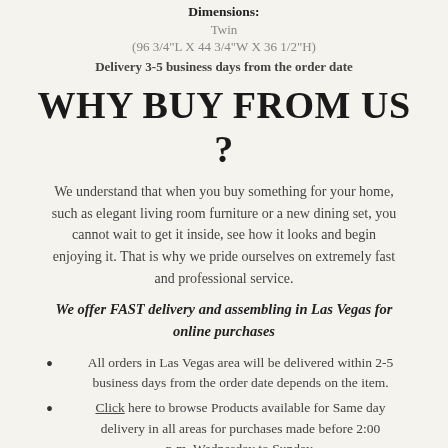Dimensions:
Twin
(96 3/4"L X 44 3/4"W X 36 1/2"H)
Delivery 3-5 business days from the order date
WHY BUY FROM US ?
We understand that when you buy something for your home, such as elegant living room furniture or a new dining set, you cannot wait to get it inside, see how it looks and begin enjoying it. That is why we pride ourselves on extremely fast and professional service.
We offer FAST delivery and assembling in Las Vegas for online purchases
All orders in Las Vegas area will be delivered within 2-5 business days from the order date depends on the item.
Click here to browse Products available for Same day delivery in all areas for purchases made before 2:00 p.m. Wednesday to Sunday.